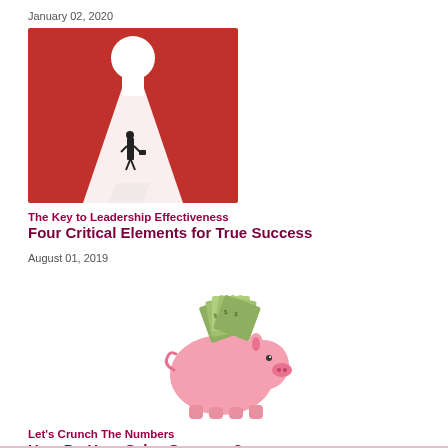January 02, 2020
[Figure (photo): A businessperson walking toward a large keyhole-shaped doorway filled with bright white light against a red background, casting a long shadow.]
The Key to Leadership Effectiveness
Four Critical Elements for True Success
August 01, 2019
[Figure (photo): A pink piggy bank with a fan of dollar bills sticking out of the top slot, on a white background.]
Let's Crunch The Numbers
How Do Your Sales Compare?
August 01, 2019